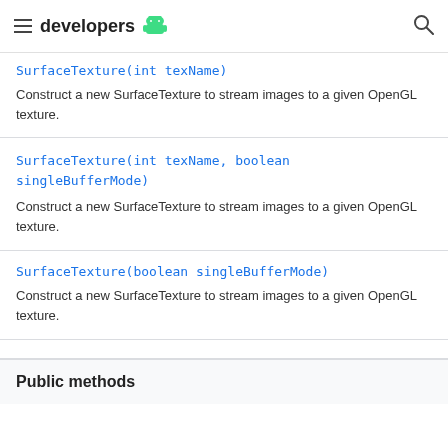developers
SurfaceTexture(int texName)
Construct a new SurfaceTexture to stream images to a given OpenGL texture.
SurfaceTexture(int texName, boolean singleBufferMode)
Construct a new SurfaceTexture to stream images to a given OpenGL texture.
SurfaceTexture(boolean singleBufferMode)
Construct a new SurfaceTexture to stream images to a given OpenGL texture.
Public methods